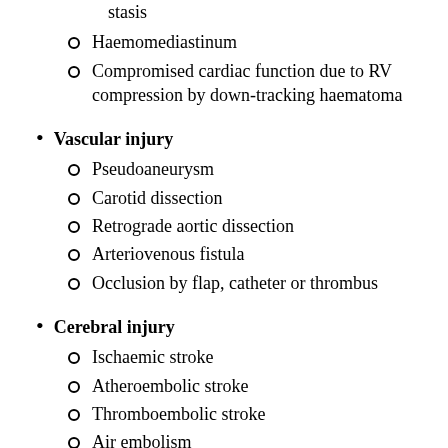stasis
Haemomediastinum
Compromised cardiac function due to RV compression by down-tracking haematoma
Vascular injury
Pseudoaneurysm
Carotid dissection
Retrograde aortic dissection
Arteriovenous fistula
Occlusion by flap, catheter or thrombus
Cerebral injury
Ischaemic stroke
Atheroembolic stroke
Thromboembolic stroke
Air embolism